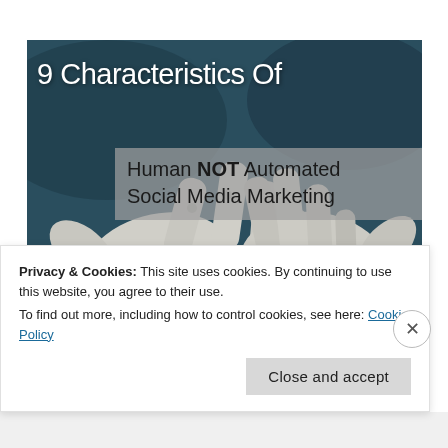[Figure (photo): Cover image showing two robotic/space-suited hands reaching toward each other against a dark teal background, with overlaid text reading '9 Characteristics Of Human NOT Automated Social Media Marketing']
9 Characteristics Of
Human NOT Automated Social Media Marketing
Privacy & Cookies: This site uses cookies. By continuing to use this website, you agree to their use.
To find out more, including how to control cookies, see here: Cookie Policy
Close and accept